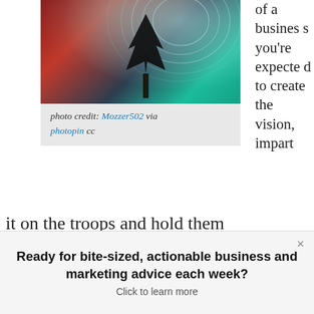[Figure (photo): Night sky photo with star trails showing circular streaks of light. A dark tree silhouette in the center-right, a red/brick building on the left, and mountain ridgeline at the bottom against a teal/blue sky.]
photo credit: Mozzer502 via photopin cc
of a business you’re expected to create the vision, impart
it on the troops and hold them accountable for bringing it to reality. But who does that for you? Who reminds you when you’ve veered off course, who
Ready for bite-sized, actionable business and marketing advice each week?
Click to learn more